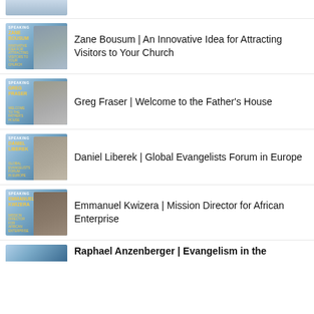(partial thumbnail — top of page)
Zane Bousum | An Innovative Idea for Attracting Visitors to Your Church
Greg Fraser | Welcome to the Father's House
Daniel Liberek | Global Evangelists Forum in Europe
Emmanuel Kwizera | Mission Director for African Enterprise
Raphael Anzenberger | Evangelism in the (partial — bottom of page)